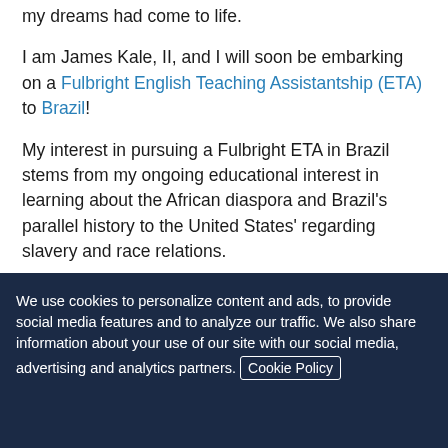my dreams had come to life.
I am James Kale, II, and I will soon be embarking on a Fulbright English Teaching Assistantship (ETA) to Brazil!
My interest in pursuing a Fulbright ETA in Brazil stems from my ongoing educational interest in learning about the African diaspora and Brazil's parallel history to the United States' regarding slavery and race relations.
Still in disbelief, I am now reflecting on my path to becoming a Fulbright ETA to Brazil, a journey which has gone...
We use cookies to personalize content and ads, to provide social media features and to analyze our traffic. We also share information about your use of our site with our social media, advertising and analytics partners. Cookie Policy